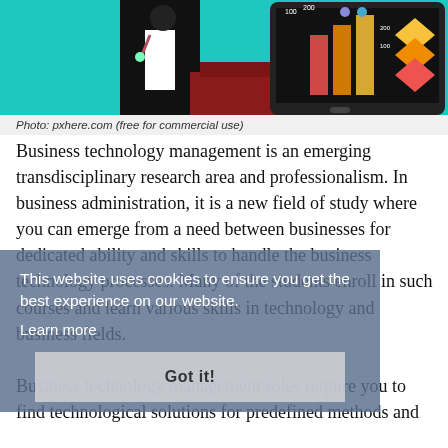[Figure (illustration): Illustration of a person in a suit presenting data charts on a tablet/screen with colorful stacked diamond shapes and data overlays on a teal background]
Photo: pxhere.com (free for commercial use)
Business technology management is an emerging transdisciplinary research area and professionalism. In business administration, it is a new field of study where you can emerge from a need between businesses for dedicated ability and skills to handle the business technology processes. Many of the students enroll in such courses and learn various skills in technology and business fields.
This website uses cookies to ensure you get the best experience on our website.
Learn more
Got it!
Business technology management roles require you to find technological solutions for predefined methods and